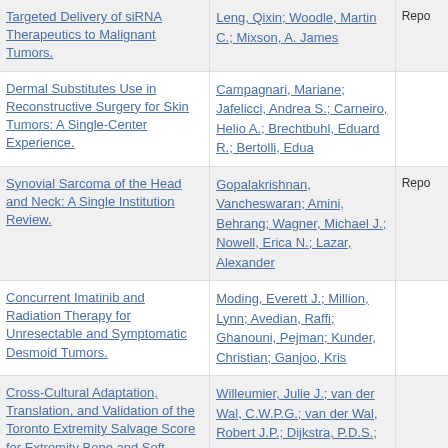| Title | Authors |  |
| --- | --- | --- |
| Targeted Delivery of siRNA Therapeutics to Malignant Tumors. | Leng, Qixin; Woodle, Martin C.; Mixson, A. James | Repo |
| Dermal Substitutes Use in Reconstructive Surgery for Skin Tumors: A Single-Center Experience. | Campagnari, Mariane; Jafelicci, Andrea S.; Carneiro, Helio A.; Brechtbuhl, Eduard R.; Bertolli, Edua |  |
| Synovial Sarcoma of the Head and Neck: A Single Institution Review. | Gopalakrishnan, Vancheswaran; Amini, Behrang; Wagner, Michael J.; Nowell, Erica N.; Lazar, Alexander | Repo |
| Concurrent Imatinib and Radiation Therapy for Unresectable and Symptomatic Desmoid Tumors. | Moding, Everett J.; Million, Lynn; Avedian, Raffi; Ghanouni, Pejman; Kunder, Christian; Ganjoo, Kris |  |
| Cross-Cultural Adaptation, Translation, and Validation of the Toronto Extremity Salvage Score for Extremity Bone and Soft Tissue Tumor Patients in Netherlands. | Willeumier, Julie J.; van der Wal, C.W.P.G.; van der Wal, Robert J.P.; Dijkstra, P.D.S.; Vlieland, T |  |
| Mesenchymal Stem Cell-Derived Extracellular Vesicles: Roles in Tumor Growth, Progression, and Drug Resist... | Zhang, Xiaoyan; Tu, Huaijun; Yang, Yazhi; Fang, Lijun; Wu, Qiong; Li, Jian | Repo |